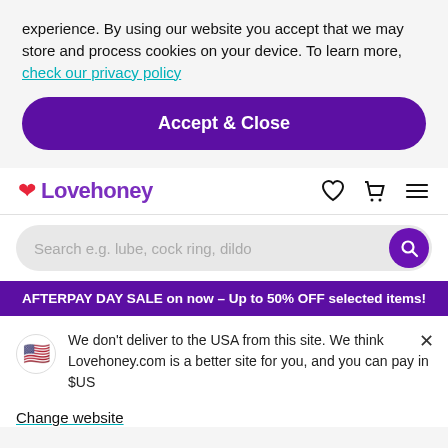experience. By using our website you accept that we may store and process cookies on your device. To learn more, check our privacy policy
Accept & Close
[Figure (logo): Lovehoney logo with heart icon and navigation icons (heart, cart, menu)]
Search e.g. lube, cock ring, dildo
AFTERPAY DAY SALE on now – Up to 50% OFF selected items!
We don't deliver to the USA from this site. We think Lovehoney.com is a better site for you, and you can pay in $US
Change website